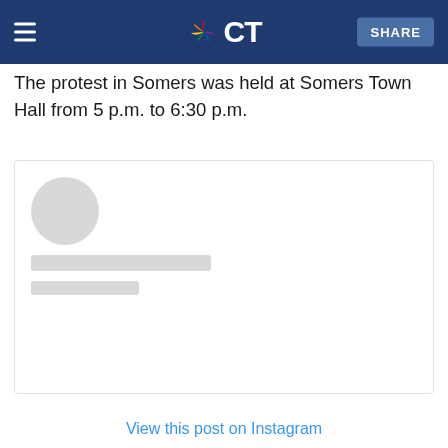NBC CT — SHARE
The protest in Somers was held at Somers Town Hall from 5 p.m. to 6:30 p.m.
[Figure (screenshot): Instagram embed placeholder with a grey avatar circle and two grey loading bars for name and subtitle]
View this post on Instagram